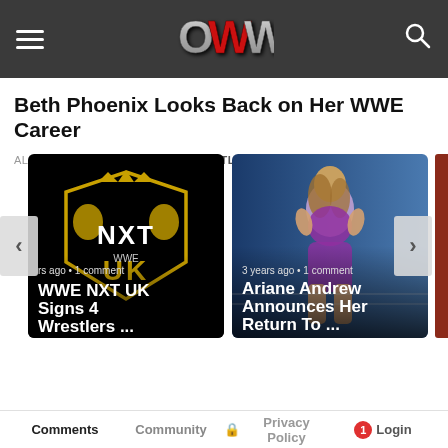OWW - Online World of Wrestling
Beth Phoenix Looks Back on Her WWE Career
ALSO ON ONLINE WORLD OF WRESTLING
[Figure (screenshot): Card 1: WWE NXT UK logo on black background. Text: 'rs ago • 1 comment' and title 'WWE NXT UK Signs 4 Wrestlers ...']
[Figure (screenshot): Card 2: Ariane Andrew in purple ring gear. Text: '3 years ago • 1 comment' and title 'Ariane Andrew Announces Her Return To ...']
Comments   Community   Privacy Policy   1   Login